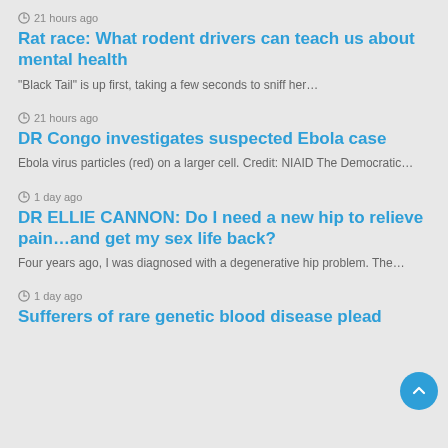21 hours ago
Rat race: What rodent drivers can teach us about mental health
“Black Tail” is up first, taking a few seconds to sniff her…
21 hours ago
DR Congo investigates suspected Ebola case
Ebola virus particles (red) on a larger cell. Credit: NIAID The Democratic…
1 day ago
DR ELLIE CANNON: Do I need a new hip to relieve pain…and get my sex life back?
Four years ago, I was diagnosed with a degenerative hip problem. The…
1 day ago
Sufferers of rare genetic blood disease plead